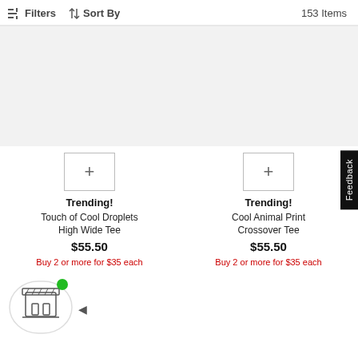Filters  Sort By  153 Items
[Figure (screenshot): Product image placeholder area (light gray background)]
Trending!
Touch of Cool Droplets High Wide Tee
$55.50
Buy 2 or more for $35 each
Trending!
Cool Animal Print Crossover Tee
$55.50
Buy 2 or more for $35 each
[Figure (illustration): Chat/store widget icon with green dot indicator and arrow]
Feedback